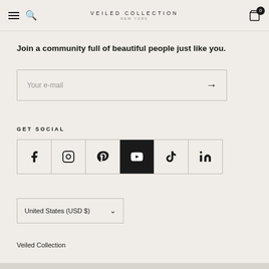VEILED COLLECTION NEW YORK
Join a community full of beautiful people just like you.
Your e-mail
GET SOCIAL
[Figure (other): Social media icons row: Facebook, Instagram, Pinterest, YouTube, TikTok, LinkedIn]
United States (USD $)
Veiled Collection